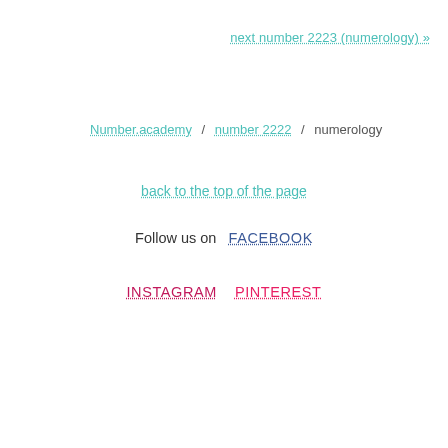next number 2223 (numerology) »
Number.academy / number 2222 / numerology
back to the top of the page
Follow us on  FACEBOOK
INSTAGRAM  PINTEREST